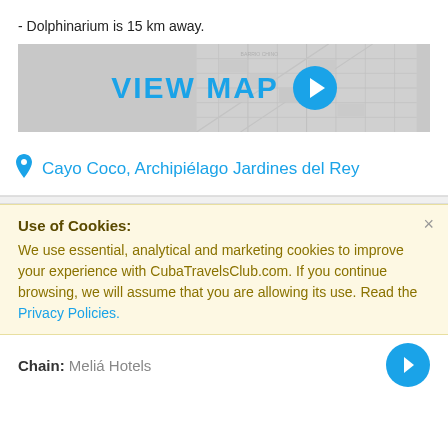- Dolphinarium is 15 km away.
[Figure (map): VIEW MAP button banner with map background and blue arrow icon]
Cayo Coco, Archipiélago Jardines del Rey
Use of Cookies: We use essential, analytical and marketing cookies to improve your experience with CubaTravelsClub.com. If you continue browsing, we will assume that you are allowing its use. Read the Privacy Policies.
Chain: Meliá Hotels